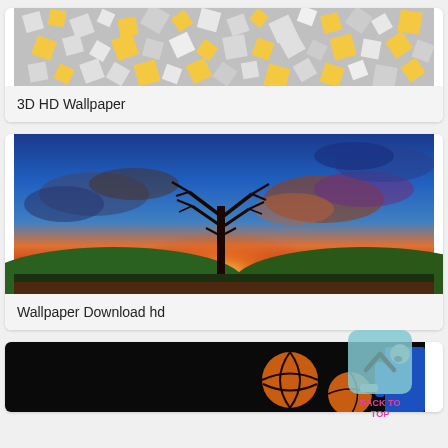[Figure (photo): 3D abstract wallpaper with white and yellow geometric cube shapes forming a tunnel pattern]
3D HD Wallpaper
[Figure (photo): Dramatic sunset landscape with a bare tree silhouette in the center, colorful sky with orange, yellow, red and blue clouds, green hills]
Wallpaper Download hd
[Figure (photo): Basketball player in blue uniform holding basketball, partially visible against black background]